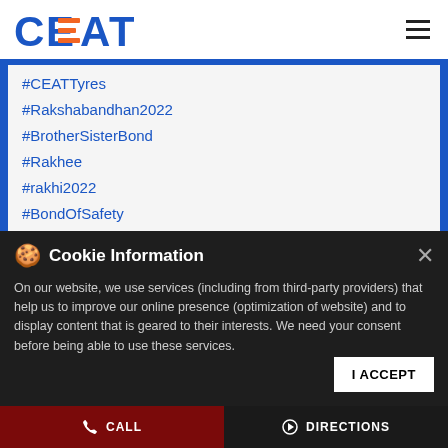CEAT
#CEATTyres
#Rakshabandhan2022
#BrotherSisterBond
#Rakhee
#rakhi2022
#BondOfSafety
Posted On: 11 Aug 2022 10:40 AM
Cookie Information
On our website, we use services (including from third-party providers) that help us to improve our online presence (optimization of website) and to display content that is geared to their interests. We need your consent before being able to use these services.
I ACCEPT
CALL   DIRECTIONS